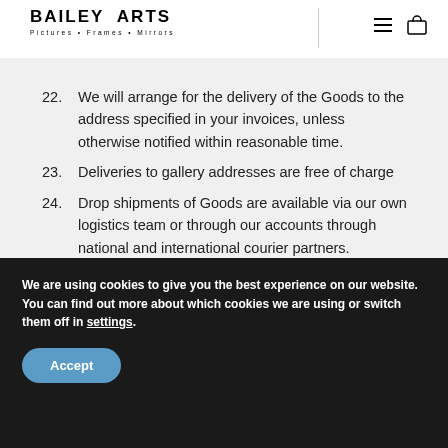BAILEY ARTS — Pictures • Frames • Mirrors
22. We will arrange for the delivery of the Goods to the address specified in your invoices, unless otherwise notified within reasonable time.
23. Deliveries to gallery addresses are free of charge
24. Drop shipments of Goods are available via our own logistics team or through our accounts through national and international courier partners.
25. Any dates quoted for delivery are approximate only
We are using cookies to give you the best experience on our website.
You can find out more about which cookies we are using or switch them off in settings.
Accept